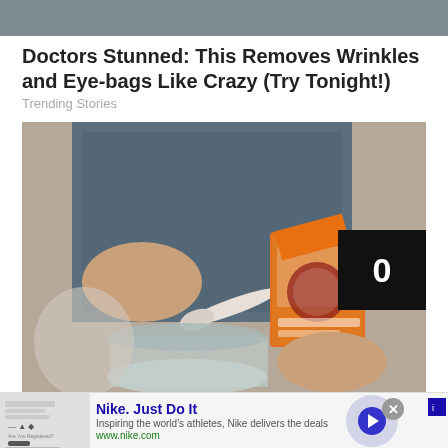[Figure (photo): Cropped top portion of a photo, dark background visible at top]
Doctors Stunned: This Removes Wrinkles and Eye-bags Like Crazy (Try Tonight!)
Trending Stories
[Figure (photo): Person in denim shirt holding a box of Arm & Hammer Baking Soda and a small white spoon over a glass jar. A video counter overlay shows '0' in the top right corner.]
Nike. Just Do It
Inspiring the world's athletes, Nike delivers the deals
www.nike.com